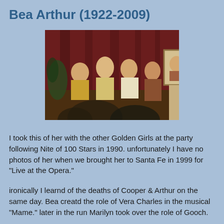Bea Arthur (1922-2009)
[Figure (photo): Photo of Bea Arthur with the other Golden Girls at a party following Nite of 100 Stars in 1990. Several elderly women are seated at a table in front of a red curtain backdrop. A framed portrait is visible to the right.]
I took this of her with the other Golden Girls at the party following Nite of 100 Stars in 1990. unfortunately I have no photos of her when we brought her to Santa Fe in 1999 for "Live at the Opera."
ironically I learnd of the deaths of Cooper & Arthur on the same day. Bea creatd the role of Vera Charles in the musical "Mame." later in the run Marilyn took over the role of Gooch.